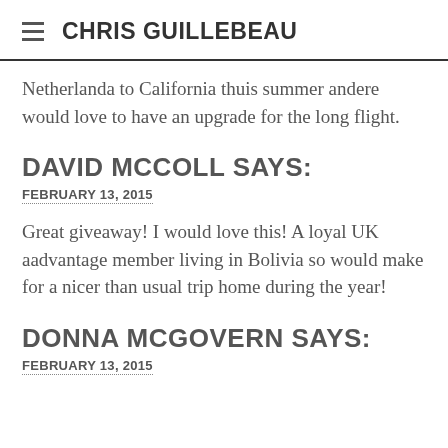CHRIS GUILLEBEAU
Netherlanda to California thuis summer andere would love to have an upgrade for the long flight.
DAVID MCCOLL SAYS:
FEBRUARY 13, 2015
Great giveaway! I would love this! A loyal UK aadvantage member living in Bolivia so would make for a nicer than usual trip home during the year!
DONNA MCGOVERN SAYS:
FEBRUARY 13, 2015